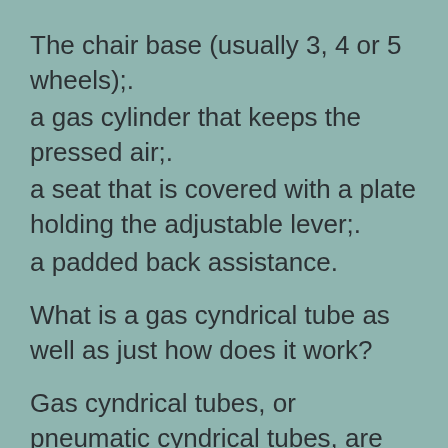The chair base (usually 3, 4 or 5 wheels);.
a gas cylinder that keeps the pressed air;.
a seat that is covered with a plate holding the adjustable lever;.
a padded back assistance.
What is a gas cyndrical tube as well as just how does it work?
Gas cyndrical tubes, or pneumatic cyndrical tubes, are devices that take the forced power of pressed gas and also compel it with a chamber which after that relocates a piston in the called for location. This motion and also